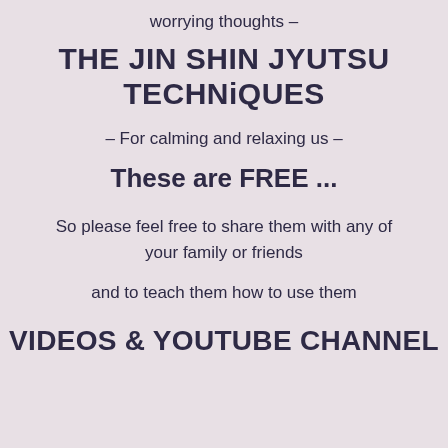worrying thoughts –
THE JIN SHIN JYUTSU TECHNiQUES
– For calming and relaxing us –
These are FREE ...
So please feel free to share them with any of your family or friends
and to teach them how to use them
VIDEOS & YOUTUBE CHANNEL